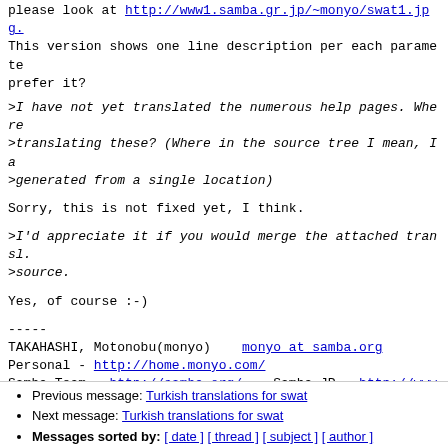please look at http://www1.samba.gr.jp/~monyo/swat1.jpg. This version shows one line description per each parameter. prefer it?
>I have not yet translated the numerous help pages. Where >translating these? (Where in the source tree I mean, I a >generated from a single location)
Sorry, this is not fixed yet, I think.
>I'd appreciate it if you would merge the attached transl. >source.
Yes, of course :-)
-----
TAKAHASHI, Motonobu(monyo)    monyo at samba.org
Personal - http://home.monyo.com/
Samba Team - http://samba.org/    Samba-JP - http://www
JWNTUG - http://www.jwntug.or.jp/    Analog-JP - http://www
MCSE+I, SCNA, CCNA, Turbo-CI
Previous message: Turkish translations for swat
Next message: Turkish translations for swat
Messages sorted by: [ date ] [ thread ] [ subject ] [ author ]